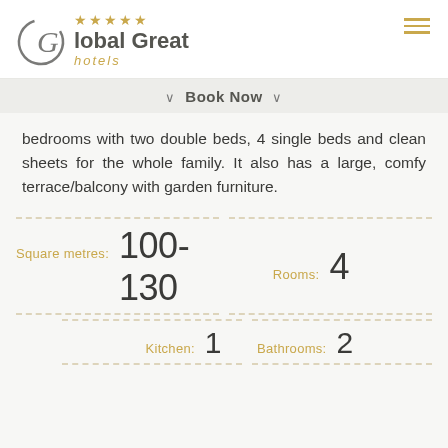[Figure (logo): Global Great Hotels logo with circular G graphic, gold stars, bold brand name and italic gold 'hotels' subtext]
Book Now
bedrooms with two double beds, 4 single beds and clean sheets for the whole family. It also has a large, comfy terrace/balcony with garden furniture.
| Label | Value |
| --- | --- |
| Square metres: | 100-130 |
| Rooms: | 4 |
| Kitchen: | 1 |
| Bathrooms: | 2 |